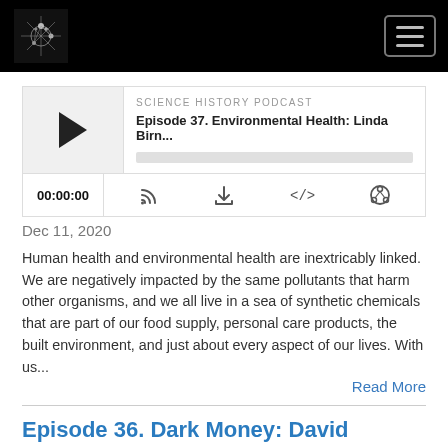Science History Podcast — navigation header with logo and hamburger menu
[Figure (screenshot): Podcast audio player widget showing episode 37 with play button, episode title 'Episode 37. Environmental Health: Linda Birn...', progress bar, timer 00:00:00, and control icons for RSS, download, embed, and share]
Dec 11, 2020
Human health and environmental health are inextricably linked. We are negatively impacted by the same pollutants that harm other organisms, and we all live in a sea of synthetic chemicals that are part of our food supply, personal care products, the built environment, and just about every aspect of our lives. With us...
Read More
Episode 36. Dark Money: David Michaels